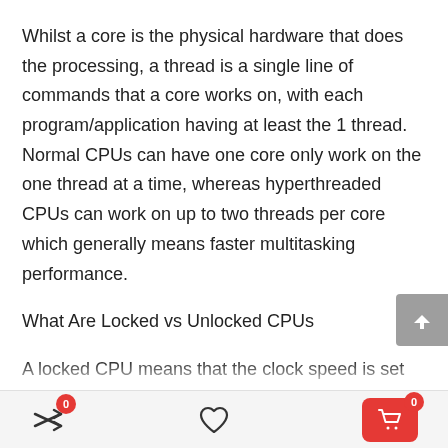Whilst a core is the physical hardware that does the processing, a thread is a single line of commands that a core works on, with each program/application having at least the 1 thread. Normal CPUs can have one core only work on the one thread at a time, whereas hyperthreaded CPUs can work on up to two threads per core which generally means faster multitasking performance.
What Are Locked vs Unlocked CPUs
A locked CPU means that the clock speed is set and can't be changed by overclocking, whereas an unlocked CPU is, you guessed it, an overclockable CPU. Unlocked Intel processors have a "K" in their model number, such as the